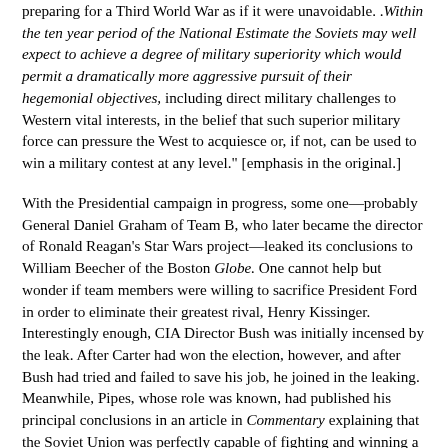preparing for a Third World War as if it were unavoidable. .Within the ten year period of the National Estimate the Soviets may well expect to achieve a degree of military superiority which would permit a dramatically more aggressive pursuit of their hegemonial objectives, including direct military challenges to Western vital interests, in the belief that such superior military force can pressure the West to acquiesce or, if not, can be used to win a military contest at any level." [emphasis in the original.]
With the Presidential campaign in progress, some one—probably General Daniel Graham of Team B, who later became the director of Ronald Reagan's Star Wars project—leaked its conclusions to William Beecher of the Boston Globe. One cannot help but wonder if team members were willing to sacrifice President Ford in order to eliminate their greatest rival, Henry Kissinger. Interestingly enough, CIA Director Bush was initially incensed by the leak. After Carter had won the election, however, and after Bush had tried and failed to save his job, he joined in the leaking. Meanwhile, Pipes, whose role was known, had published his principal conclusions in an article in Commentary explaining that the Soviet Union was perfectly capable of fighting and winning a